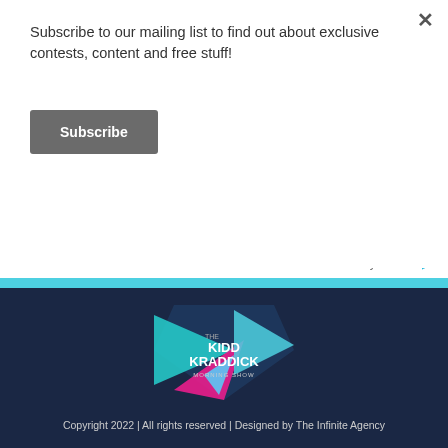Subscribe to our mailing list to find out about exclusive contests, content and free stuff!
Subscribe
[Figure (screenshot): Amazon product listings showing prices and star ratings: (8080) reviews, (543) reviews, (38983) reviews with Ads by Amazon label]
[Figure (logo): The Kidd Kraddick Morning Show logo — colorful geometric triangles in teal, pink and blue on dark navy background]
Copyright 2022 | All rights reserved | Designed by The Infinite Agency